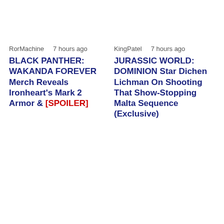RorMachine    7 hours ago
BLACK PANTHER: WAKANDA FOREVER Merch Reveals Ironheart's Mark 2 Armor & [SPOILER]
KingPatel       7 hours ago
JURASSIC WORLD: DOMINION Star Dichen Lichman On Shooting That Show-Stopping Malta Sequence (Exclusive)